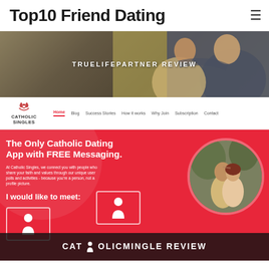Top10 Friend Dating
[Figure (screenshot): Website screenshot showing TrueLifePartner review banner with couple hugging in background]
[Figure (screenshot): Catholic Singles website navigation bar with logo and menu items: Home, Blog, Success Stories, How it works, Why Join, Subscription, Contact]
[Figure (screenshot): Catholic Singles pink/red app section with tagline 'The Only Catholic Dating App with FREE Messaging.' and couple photo in circle, with 'I would like to meet:' section and person icons]
[Figure (screenshot): CatholicMingle Review banner overlay at bottom of pink section]